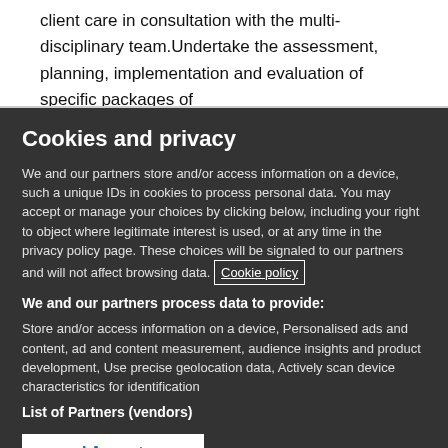client care in consultation with the multi-disciplinary team.Undertake the assessment, planning, implementation and evaluation of specific packages of
Cookies and privacy
We and our partners store and/or access information on a device, such a unique IDs in cookies to process personal data. You may accept or manage your choices by clicking below, including your right to object where legitimate interest is used, or at any time in the privacy policy page. These choices will be signaled to our partners and will not affect browsing data. Cookie policy
We and our partners process data to provide:
Store and/or access information on a device, Personalised ads and content, ad and content measurement, audience insights and product development, Use precise geolocation data, Actively scan device characteristics for identification
List of Partners (vendors)
I Accept